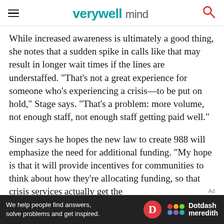verywellmind
While increased awareness is ultimately a good thing, she notes that a sudden spike in calls like that may result in longer wait times if the lines are understaffed. "That's not a great experience for someone who's experiencing a crisis—to be put on hold," Stage says. "That's a problem: more volume, not enough staff, not enough staff getting paid well."
Singer says he hopes the new law to create 988 will emphasize the need for additional funding. "My hope is that it will provide incentives for communities to think about how they're allocating funding, so that crisis services actually get the
[Figure (other): Dotdash Meredith advertisement banner with text 'We help people find answers, solve problems and get inspired.']